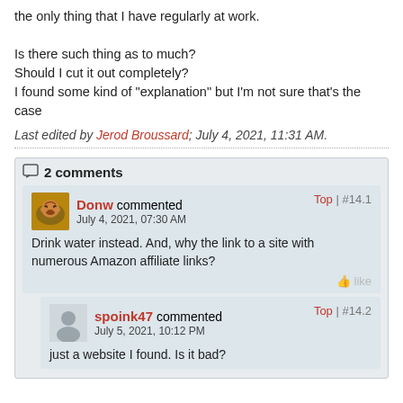the only thing that I have regularly at work.

Is there such thing as to much?
Should I cut it out completely?
I found some kind of "explanation" but I'm not sure that's the case
Last edited by Jerod Broussard; July 4, 2021, 11:31 AM.
2 comments
Donw commented
July 4, 2021, 07:30 AM
Drink water instead. And, why the link to a site with numerous Amazon affiliate links?
spoink47 commented
July 5, 2021, 10:12 PM
just a website I found. Is it bad?